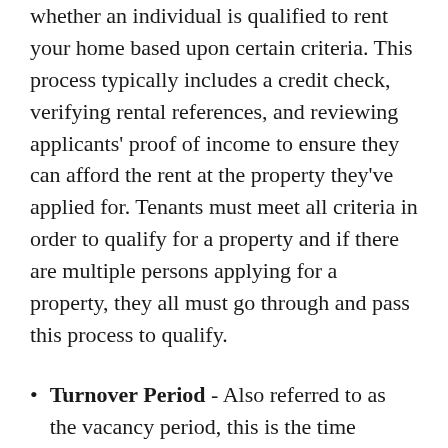whether an individual is qualified to rent your home based upon certain criteria. This process typically includes a credit check, verifying rental references, and reviewing applicants' proof of income to ensure they can afford the rent at the property they've applied for. Tenants must meet all criteria in order to qualify for a property and if there are multiple persons applying for a property, they all must go through and pass this process to qualify.
Turnover Period - Also referred to as the vacancy period, this is the time during which your property is between tenants and is being